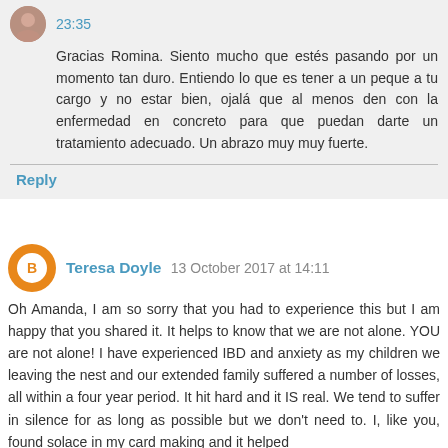23:35
Gracias Romina. Siento mucho que estés pasando por un momento tan duro. Entiendo lo que es tener a un peque a tu cargo y no estar bien, ojalá que al menos den con la enfermedad en concreto para que puedan darte un tratamiento adecuado. Un abrazo muy muy fuerte.
Reply
Teresa Doyle 13 October 2017 at 14:11
Oh Amanda, I am so sorry that you had to experience this but I am happy that you shared it. It helps to know that we are not alone. YOU are not alone! I have experienced IBD and anxiety as my children we leaving the nest and our extended family suffered a number of losses, all within a four year period. It hit hard and it IS real. We tend to suffer in silence for as long as possible but we don't need to. I, like you, found solace in my card making and it helped